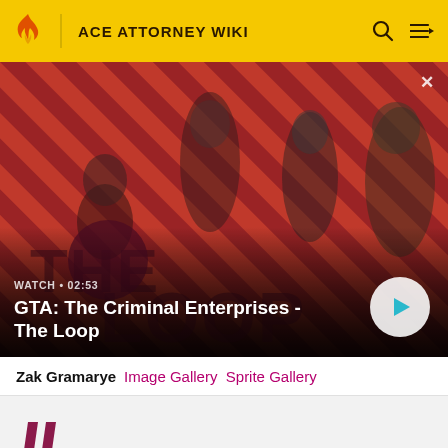ACE ATTORNEY WIKI
[Figure (screenshot): GTA: The Criminal Enterprises - The Loop video thumbnail showing four characters on a red diagonal striped background with a play button. Text overlay: WATCH • 02:53. Title: GTA: The Criminal Enterprises - The Loop]
Zak Gramarye Image Gallery Sprite Gallery
Turnabout Succession